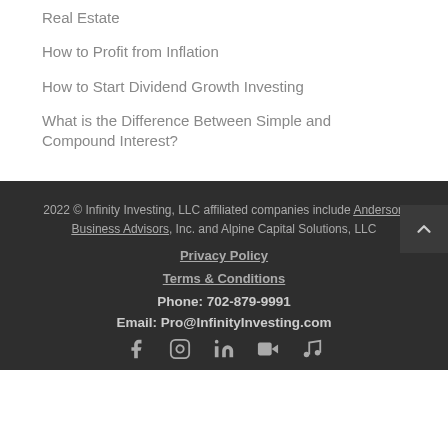Real Estate
How to Profit from Inflation
How to Start Dividend Growth Investing
What is the Difference Between Simple and Compound Interest?
2022 © Infinity Investing, LLC affiliated companies include Anderson Business Advisors, Inc. and Alpine Capital Solutions, LLC
Privacy Policy
Terms & Conditions
Phone: 702-879-9991
Email: Pro@InfinityInvesting.com